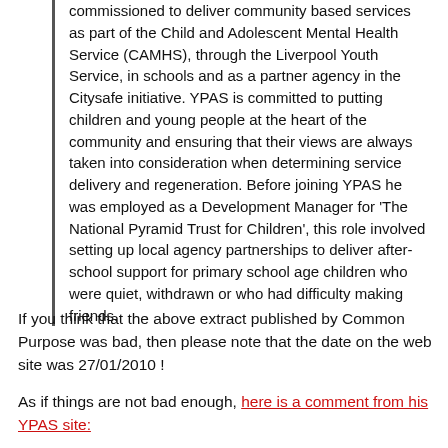commissioned to deliver community based services as part of the Child and Adolescent Mental Health Service (CAMHS), through the Liverpool Youth Service, in schools and as a partner agency in the Citysafe initiative. YPAS is committed to putting children and young people at the heart of the community and ensuring that their views are always taken into consideration when determining service delivery and regeneration. Before joining YPAS he was employed as a Development Manager for 'The National Pyramid Trust for Children', this role involved setting up local agency partnerships to deliver after-school support for primary school age children who were quiet, withdrawn or who had difficulty making friends.
If you think that the above extract published by Common Purpose was bad, then please note that the date on the web site was 27/01/2010 !
As if things are not bad enough, here is a comment from his YPAS site: